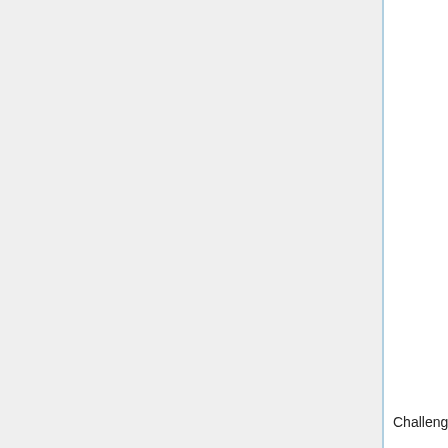the tu ex sig hig the me
| Type | User | Date | Text |
| --- | --- | --- | --- |
| Challenge | Roosheel, Team I got Krebs | 2013-11-10 18:42:14 CST | Ca re te |
| Private Assessment | JimHu | 2013-11-18 11:02:58 CST | Yo be ins vie no |
|  |  | 2013-11- | Th an ha |